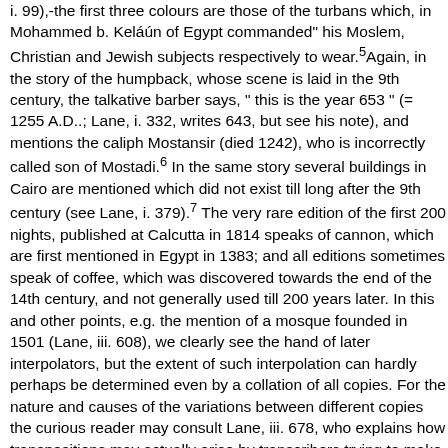i. 99),-the first three colours are those of the turbans which, in Mohammed b. Keláún of Egypt commanded" his Moslem, Christian and Jewish subjects respectively to wear.5Again, in the story of the humpback, whose scene is laid in the 9th century, the talkative barber says, " this is the year 653 " (= 1255 A.D..; Lane, i. 332, writes 643, but see his note), and mentions the caliph Mostansir (died 1242), who is incorrectly called son of Mostadi.6 In the same story several buildings in Cairo are mentioned which did not exist till long after the 9th century (see Lane, i. 379).7 The very rare edition of the first 200 nights, published at Calcutta in 1814 speaks of cannon, which are first mentioned in Egypt in 1383; and all editions sometimes speak of coffee, which was discovered towards the end of the 14th century, and not generally used till 200 years later. In this and other points, e.g. the mention of a mosque founded in 1501 (Lane, iii. 608), we clearly see the hand of later interpolators, but the extent of such interpolation can hardly perhaps be determined even by a collation of all copies. For the nature and causes of the variations between different copies the curious reader may consult Lane, iii. 678, who explains how transpositions may actually arise by transcribers trying to make up a complete set of tales from several imperfect copies.